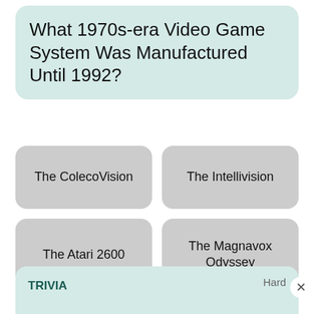What 1970s-era Video Game System Was Manufactured Until 1992?
The ColecoVision
The Intellivision
The Atari 2600
The Magnavox Odyssey
Hard
TRIVIA